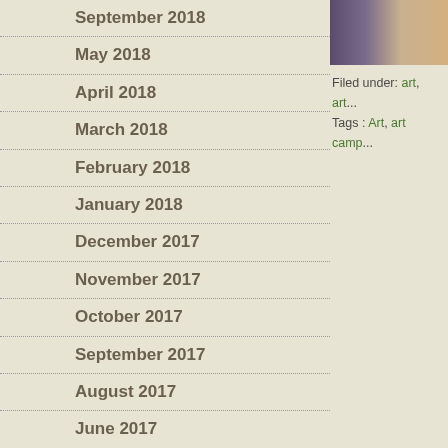September 2018
May 2018
April 2018
March 2018
February 2018
January 2018
December 2017
November 2017
October 2017
September 2017
August 2017
June 2017
May 2017
April 2017
March 2017
February 2017
January 2017
[Figure (photo): Partial photo showing purple and tan/wood tones in top-right corner sidebar]
Filed under: art, art...
Tags : Art, art camp...